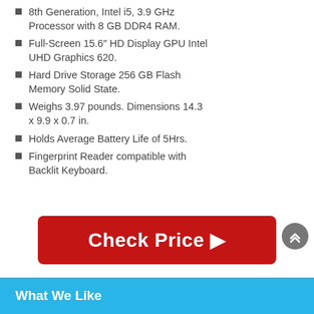8th Generation, Intel i5, 3.9 GHz Processor with 8 GB DDR4 RAM.
Full-Screen 15.6″ HD Display GPU Intel UHD Graphics 620.
Hard Drive Storage 256 GB Flash Memory Solid State.
Weighs 3.97 pounds. Dimensions 14.3 x 9.9 x 0.7 in.
Holds Average Battery Life of 5Hrs.
Fingerprint Reader compatible with Backlit Keyboard.
Check Price ▶
What We Like